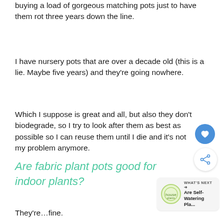buying a load of gorgeous matching pots just to have them rot three years down the line.
I have nursery pots that are over a decade old (this is a lie. Maybe five years) and they’re going nowhere.
Which I suppose is great and all, but also they don’t biodegrade, so I try to look after them as best as possible so I can reuse them until I die and it’s not my problem anymore.
Are fabric plant pots good for indoor plants?
They’re…fine.